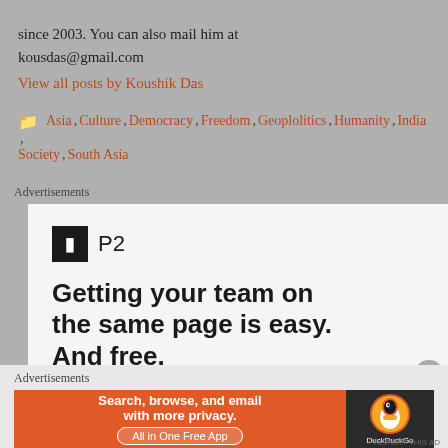since 2003. You can also mail him at kousdas@gmail.com
View all posts by Koushik Das
Asia, Culture, Democracy, Freedom, Geoplolitics, Humanity, India, Society, South Asia
Advertisements
[Figure (screenshot): P2 advertisement: logo with black square icon and 'P2' text, tagline 'Getting your team on the same page is easy. And free.']
Advertisements
[Figure (screenshot): DuckDuckGo advertisement: orange section with text 'Search, browse, and email with more privacy. All in One Free App', dark section with DuckDuckGo logo]